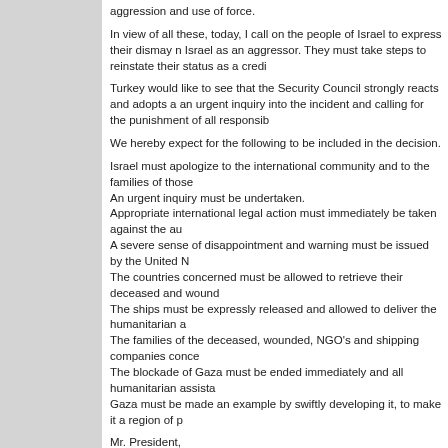aggression and use of force.
In view of all these, today, I call on the people of Israel to express their dismay n Israel as an aggressor. They must take steps to reinstate their status as a credi
Turkey would like to see that the Security Council strongly reacts and adopts a an urgent inquiry into the incident and calling for the punishment of all responsib
We hereby expect for the following to be included in the decision.
Israel must apologize to the international community and to the families of those
An urgent inquiry must be undertaken.
Appropriate international legal action must immediately be taken against the au
A severe sense of disappointment and warning must be issued by the United N
The countries concerned must be allowed to retrieve their deceased and wound
The ships must be expressly released and allowed to deliver the humanitarian a
The families of the deceased, wounded, NGO's and shipping companies conce
The blockade of Gaza must be ended immediately and all humanitarian assista
Gaza must be made an example by swiftly developing it, to make it a region of p
Mr. President,
This is a black day in the history of humanity where the distance between terror respect of the international world order will have to answer to the world public o
It is incumbent upon us to show that all states are bound by international law an this is our common goal.
In ending, I salute all humanitarian workers who endeavor to provide relief. The their lives in this pursuit whatever their background, their religion or ethnicity. I s
According to our Abrahamic tradition and my belief, killing one human being is k Mediterranean.
Thank you.
May 31st, 2010, 5:31 pm